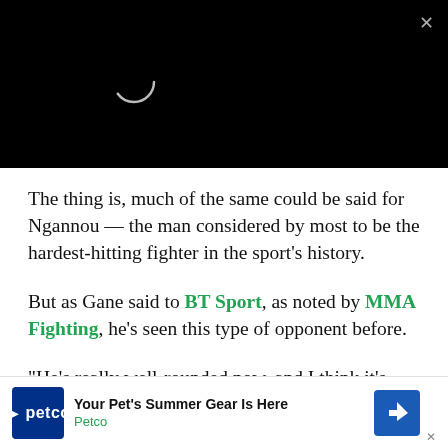[Figure (screenshot): Black video player area with a circular loading spinner and an X close button in the top right corner]
The thing is, much of the same could be said for Ngannou — the man considered by most to be the hardest-hitting fighter in the sport's history.
But as Gane said to BT Sport, as noted by MMA Fighting, he's seen this type of opponent before.
“He’s really well-rounded now, and I think it’s going to be mo... age the no... wor
[Figure (screenshot): Advertisement banner for Petco: 'Your Pet's Summer Gear Is Here' with Petco logo and navigation icon]